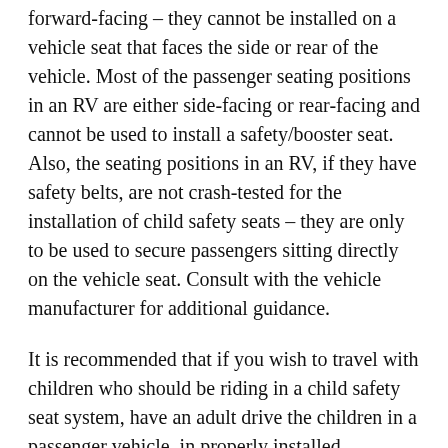must be installed on vehicle seats that are oriented forward-facing – they cannot be installed on a vehicle seat that faces the side or rear of the vehicle. Most of the passenger seating positions in an RV are either side-facing or rear-facing and cannot be used to install a safety/booster seat. Also, the seating positions in an RV, if they have safety belts, are not crash-tested for the installation of child safety seats – they are only to be used to secure passengers sitting directly on the vehicle seat. Consult with the vehicle manufacturer for additional guidance.
It is recommended that if you wish to travel with children who should be riding in a child safety seat system, have an adult drive the children in a passenger vehicle, in properly installed safety/booster seats, and meet up with the occupants of the RV when the RV